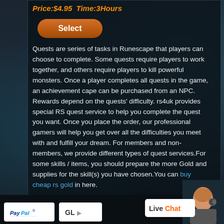Price:$4.95  Time:3Hours
Select
Quests are series of tasks in Runescape that players can choose to complete. Some quests require players to work together, and others require players to kill powerful monsters. Once a player completes all quests in the game, an achievement cape can be purchased from an NPC. Rewards depend on the quests' difficulty. rs4uk provides special RS quest service to help you complete the quest you want. Once you place the order, our professional gamers will help you get over all the difficulties you meet with and fulfill your dream. For members and non-members, we provide different types of quest services.For some skills / items, you should prepare the more Gold and supplies for the skill(s) you have chosen.You can buy cheap rs gold in here.
[Figure (photo): Customer service agent with headset, smiling]
[Figure (logo): LiveChat logo in white box]
[Figure (logo): PayPal logo]
[Figure (logo): GL/payment provider logo]